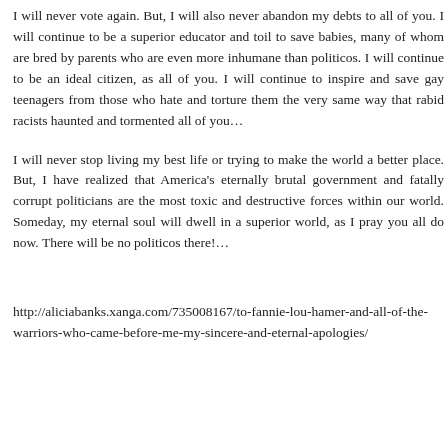I will never vote again. But, I will also never abandon my debts to all of you. I will continue to be a superior educator and toil to save babies, many of whom are bred by parents who are even more inhumane than politicos. I will continue to be an ideal citizen, as all of you. I will continue to inspire and save gay teenagers from those who hate and torture them the very same way that rabid racists haunted and tormented all of you…
I will never stop living my best life or trying to make the world a better place. But, I have realized that America's eternally brutal government and fatally corrupt politicians are the most toxic and destructive forces within our world. Someday, my eternal soul will dwell in a superior world, as I pray you all do now. There will be no politicos there!…
http://aliciabanks.xanga.com/735008167/to-fannie-lou-hamer-and-all-of-the-warriors-who-came-before-me-my-sincere-and-eternal-apologies/